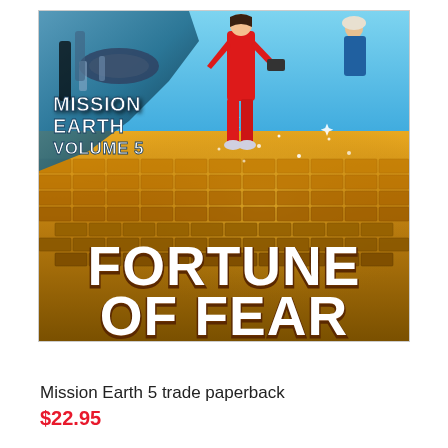[Figure (illustration): Book cover for Mission Earth Volume 5: Fortune of Fear. Shows a woman in a red jumpsuit standing atop a massive pile of gold bars, with a spacecraft and futuristic city in the background. The title FORTUNE OF FEAR appears in large white letters at the bottom, and MISSION EARTH VOLUME 5 appears in white text on the left side.]
Mission Earth 5 trade paperback
$22.95